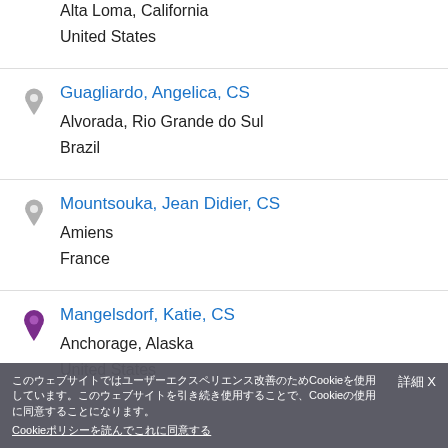Alta Loma, California
United States
Guagliardo, Angelica, CS
Alvorada, Rio Grande do Sul
Brazil
Mountsouka, Jean Didier, CS
Amiens
France
Mangelsdorf, Katie, CS
Anchorage, Alaska
United States
Cookie
Cookie